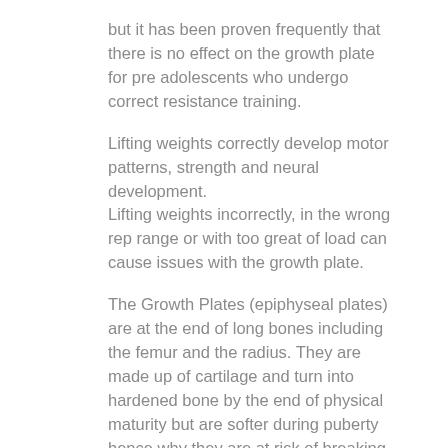but it has been proven frequently that there is no effect on the growth plate for pre adolescents who undergo correct resistance training.
Lifting weights correctly develop motor patterns, strength and neural development.
Lifting weights incorrectly, in the wrong rep range or with too great of load can cause issues with the growth plate.
The Growth Plates (epiphyseal plates) are at the end of long bones including the femur and the radius. They are made up of cartilage and turn into hardened bone by the end of physical maturity but are softer during puberty hence why they are at risk of breaking.
Based on extensive research there has been no evidence to suggest that strength training has adverse effects on the growth plate nor has there been any evidence that strength training for pre